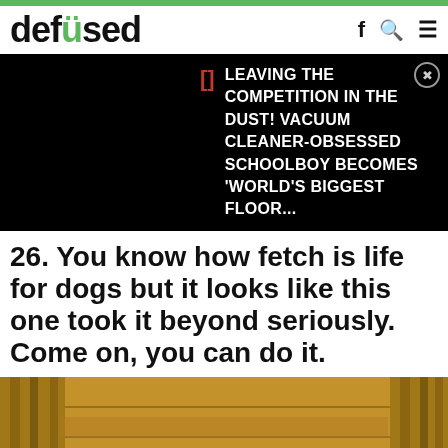defused
LEAVING THE COMPETITION IN THE DUST! VACUUM CLEANER-OBSESSED SCHOOLBOY BECOMES 'WORLD'S BIGGEST FLOOR...
26. You know how fetch is life for dogs but it looks like this one took it beyond seriously. Come on, you can do it.
[Figure (photo): A dog on a wooden staircase/deck structure viewed from above, carrying a large stick]